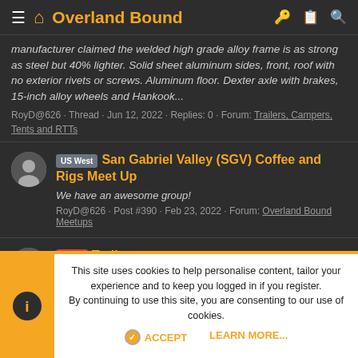Overland Bound
manufacturer claimed the welded high grade alloy frame is as strong as steel but 40% lighter. Solid sheet aluminum sides, front, roof with no exterior rivets or screws. Aluminum floor. Dexter axle with brakes, 15-inch alloy wheels and Hankook...
RoyD@626 · Thread · Jun 12, 2022 · Replies: 0 · Forum: Trailers, Campers, Tents and RTTs
US West San Gabriel Valley (SGV) Coffee and Rigs Meet Up
We have an awesome group!
RoyD@626 · Post #390 · Feb 23, 2022 · Forum: Overland Bound Meetups
SOLD Trailer
This site uses cookies to help personalise content, tailor your experience and to keep you logged in if you register.
By continuing to use this site, you are consenting to our use of cookies.